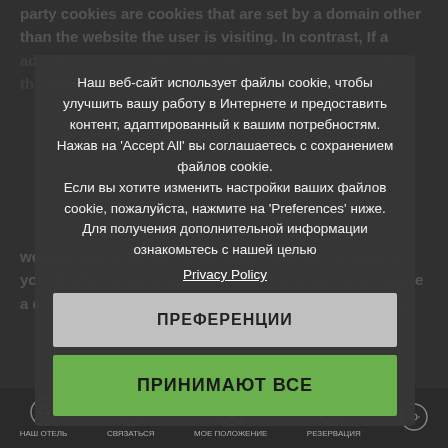party cookies are cookies that are set by a domain other than the website the user is visiting. In contrast, If a advertising campaigns and other purposes across the the websites that help our clients share their cookie.
Наш веб-сайт использует файлы cookie, чтобы улучшить вашу работу в Интернете и предоставить контент, адаптированный к вашим потребностям. Нажав на 'Accept All' вы соглашаетесь с сохранением файлов cookie. Если вы хотите изменить настройки ваших файлов cookie, пожалуйста, нажмите на 'Preferences' ниже. Для получения дополнительной информации ознакомьтесь с нашей целью Privacy Policy
website and to deliver a more personalized service for you. If, after supplying personal information, you require a copy of it or you wish to discuss, correct or delete it,
ПРЕФЕРЕНЦИИ
Home Page.
ПРИНИМАЮТ ВСЕ
on Bookassist.org
[Figure (screenshot): Bottom navigation bar with icons for home, phone, location, reservation, and other functions]